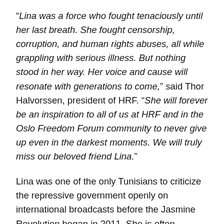“Lina was a force who fought tenaciously until her last breath. She fought censorship, corruption, and human rights abuses, all while grappling with serious illness. But nothing stood in her way. Her voice and cause will resonate with generations to come,” said Thor Halvorssen, president of HRF. “She will forever be an inspiration to all of us at HRF and in the Oslo Freedom Forum community to never give up even in the darkest moments. We will truly miss our beloved friend Lina.”
Lina was one of the only Tunisians to criticize the repressive government openly on international broadcasts before the Jasmine Revolution began in 2011. She is often described as one of the bravest bloggers in the world, whose work was instrumental in documenting, informing, and mobilizing citizens during the Revolution. Lina’s